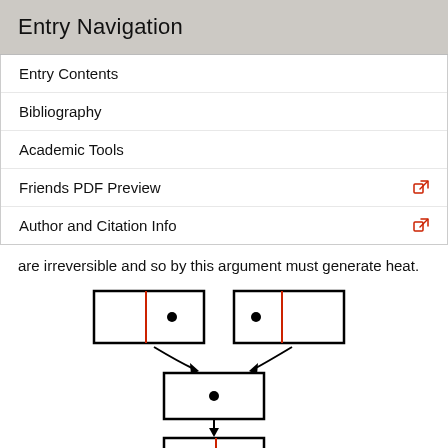Entry Navigation
Entry Contents
Bibliography
Academic Tools
Friends PDF Preview
Author and Citation Info
are irreversible and so by this argument must generate heat.
[Figure (schematic): A sequence of diagrams showing two boxes each divided by a red vertical line with a dot on one side, converging with arrows into a single undivided box with a dot, then an arrow down to a box with a red divider and an arrow pointing left toward the dot, then another arrow down to a partially visible box with a red divider and a dot.]